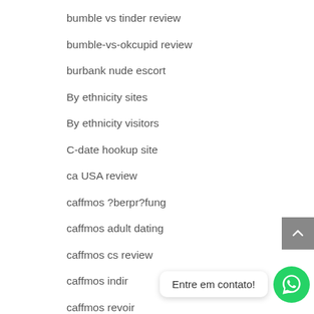bumble vs tinder review
bumble-vs-okcupid review
burbank nude escort
By ethnicity sites
By ethnicity visitors
C-date hookup site
ca USA review
caffmos ?berpr?fung
caffmos adult dating
caffmos cs review
caffmos indir
caffmos revoir
caffmos visitors
Entre em contato!